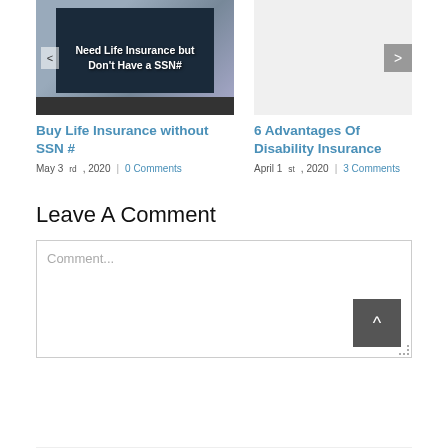[Figure (screenshot): Blog post card with laptop image showing text 'Need Life Insurance but Don't Have a SSN#' with a previous arrow button overlay]
Buy Life Insurance without SSN #
May 3rd, 2020  |  0 Comments
[Figure (screenshot): Blog post card with grey placeholder image and a next arrow button on the right]
6 Advantages Of Disability Insurance
April 1st, 2020  |  3 Comments
Leave A Comment
Comment...